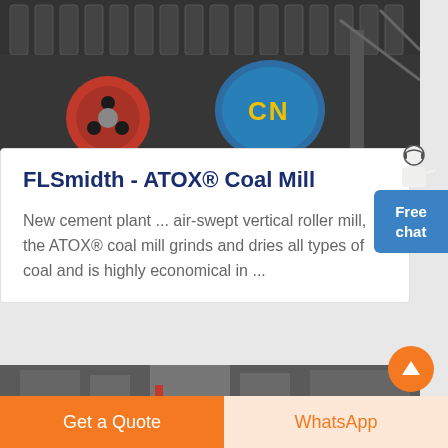[Figure (photo): Industrial machinery photo showing large mechanical components with springs, a red wheel/disc, and a blue motor labeled CN against dark industrial equipment background]
FLSmidth - ATOX® Coal Mill
New cement plant ... air-swept vertical roller mill, the ATOX® coal mill grinds and dries all types of coal and is highly economical in ...
[Figure (photo): Partial industrial interior photo showing factory/plant equipment in a large building]
Get a Quote
WhatsApp